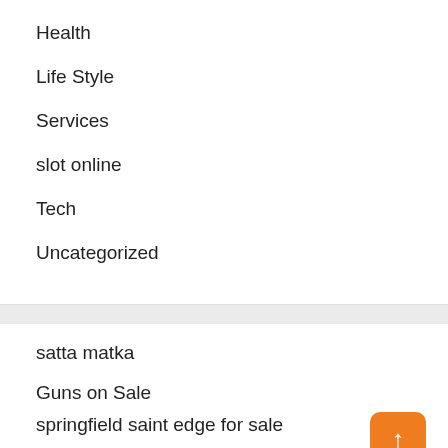Health
Life Style
Services
slot online
Tech
Uncategorized
satta matka
Guns on Sale
springfield saint edge for sale
Tactical Gun store